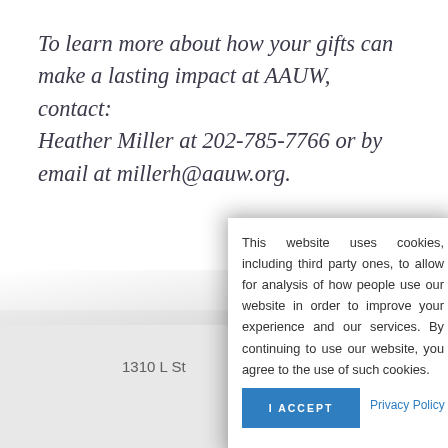To learn more about how your gifts can make a lasting impact at AAUW, contact: Heather Miller at 202-785-7766 or by email at millerh@aauw.org.
1310 L St
This website uses cookies, including third party ones, to allow for analysis of how people use our website in order to improve your experience and our services. By continuing to use our website, you agree to the use of such cookies.
I ACCEPT
Privacy Policy